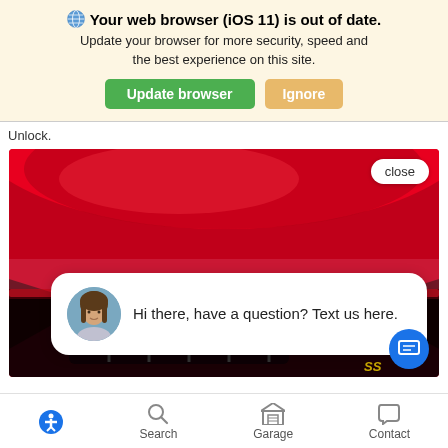Your web browser (iOS 11) is out of date. Update your browser for more security, speed and the best experience on this site. Update browser | Ignore
Unlock.
[Figure (screenshot): Photo of the front of a red sports car (Camaro SS) with a chat popup overlay. The popup has a 'close' button and shows a woman's avatar with the text: 'Hi there, have a question? Text us here.' A blue chat icon button is visible at bottom right.]
Accessibility | Search | Garage | Contact